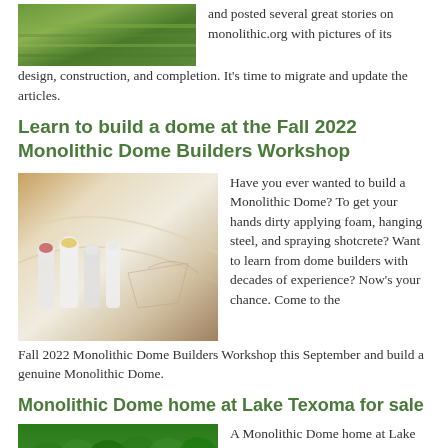[Figure (photo): Aerial view of green farmland or fields]
and posted several great stories on monolithic.org with pictures of its design, construction, and completion. It's time to migrate and update the articles.
Learn to build a dome at the Fall 2022 Monolithic Dome Builders Workshop
[Figure (photo): Workers in white protective suits applying foam inside a Monolithic Dome under construction]
Have you ever wanted to build a Monolithic Dome? To get your hands dirty applying foam, hanging steel, and spraying shotcrete? Want to learn from dome builders with decades of experience? Now's your chance. Come to the Fall 2022 Monolithic Dome Builders Workshop this September and build a genuine Monolithic Dome.
Monolithic Dome home at Lake Texoma for sale
[Figure (photo): Aerial view of dense green forest with a small dome structure visible]
A Monolithic Dome home at Lake Texoma near the Texas/Oklahoma border is for sale. Situated on 3.65 acres, the house is surrounded by trees. It has three bedrooms, two